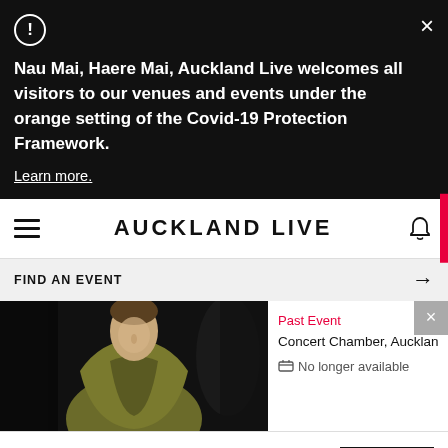Nau Mai, Haere Mai, Auckland Live welcomes all visitors to our venues and events under the orange setting of the Covid-19 Protection Framework.
Learn more.
AUCKLAND LIVE
FIND AN EVENT
[Figure (photo): A person wearing an olive/khaki draped garment or scarf, flanked by other figures in dark clothing against a dark background.]
Past Event
Concert Chamber, Auckland T
No longer available
Be the first to know about live events in Auckland!
SIGN UP